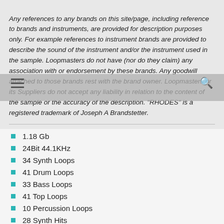Any references to any brands on this site/page, including reference to brands and instruments, are provided for description purposes only. For example references to instrument brands are provided to describe the sound of the instrument and/or the instrument used in the sample. Loopmasters do not have (nor do they claim) any association with or endorsement by these brands. Any goodwill attached to those brands rest with the brand owner. Loopmasters or its Suppliers do not accept any liability in relation to the content of the sample or the accuracy of the description. "RHODES" is a registered trademark of Joseph A Brandstetter.
1.18 Gb
24Bit 44.1KHz
34 Synth Loops
41 Drum Loops
33 Bass Loops
41 Top Loops
10 Percussion Loops
28 Synth Hits
31 Bass Hits
76 Drum Hits